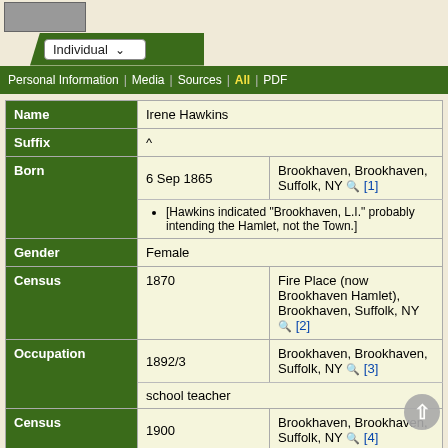[Figure (photo): Small historical photo placeholder at top left]
Individual | Personal Information | Media | Sources | All | PDF
| Field | Date | Place/Value |
| --- | --- | --- |
| Name |  | Irene Hawkins |
| Suffix |  | ^ |
| Born | 6 Sep 1865 | Brookhaven, Brookhaven, Suffolk, NY [1] |
|  |  | [Hawkins indicated "Brookhaven, L.I." probably intending the Hamlet, not the Town.] |
| Gender |  | Female |
| Census | 1870 | Fire Place (now Brookhaven Hamlet), Brookhaven, Suffolk, NY [2] |
| Occupation | 1892/3 | Brookhaven, Brookhaven, Suffolk, NY [3] |
|  |  | school teacher |
| Census | 1900 | Brookhaven, Brookhaven, Suffolk, NY [4] |
|  |  | She was living with her parents, as well as her husband. |